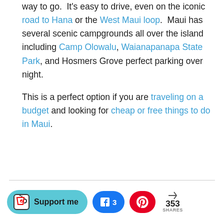way to go.  It's easy to drive, even on the iconic road to Hana or the West Maui loop.  Maui has several scenic campgrounds all over the island including Camp Olowalu, Waianapanapa State Park, and Hosmers Grove perfect parking over night.
This is a perfect option if you are traveling on a budget and looking for cheap or free things to do in Maui.
Support me | Facebook 3 | Pinterest | < 353 SHARES